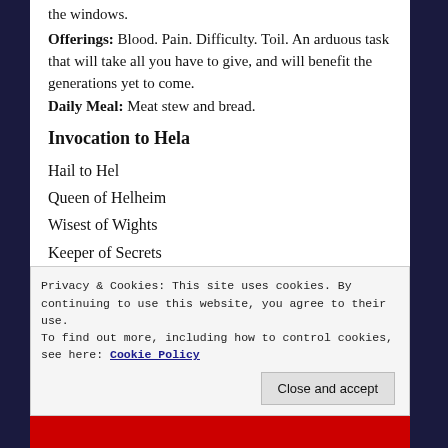the windows.
Offerings: Blood. Pain. Difficulty. Toil. An arduous task that will take all you have to give, and will benefit the generations yet to come.
Daily Meal: Meat stew and bread.
Invocation to Hela
Hail to Hel
Queen of Helheim
Wisest of Wights
Keeper of Secrets
Keeper of the hopes for tomorrow
Privacy & Cookies: This site uses cookies. By continuing to use this website, you agree to their use.
To find out more, including how to control cookies, see here: Cookie Policy
Close and accept